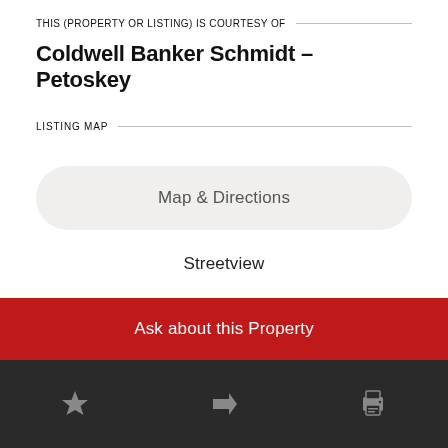THIS (PROPERTY OR LISTING) IS COURTESY OF
Coldwell Banker Schmidt – Petoskey
LISTING MAP
Map & Directions
Streetview
Bird's Eye View
Ask about this Property